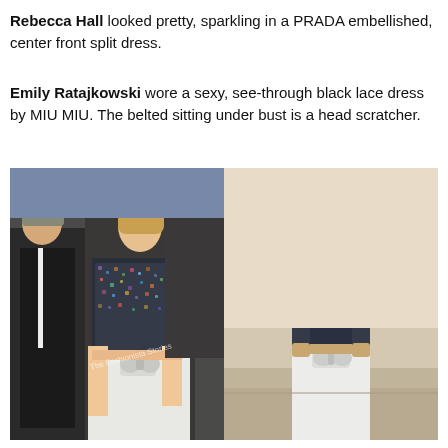Rebecca Hall looked pretty, sparkling in a PRADA embellished, center front split dress.
Emily Ratajkowski wore a sexy, see-through black lace dress by MIU MIU. The belted sitting under bust is a head scratcher.
[Figure (photo): Side-by-side comparison photos: left shows a woman in a sequined/embellished dark crop top and white voluminous bow skirt at a red carpet event with a man in a suit beside her; right shows a model on a runway wearing the same outfit — sequined dark turtleneck crop top and white bow skirt.]